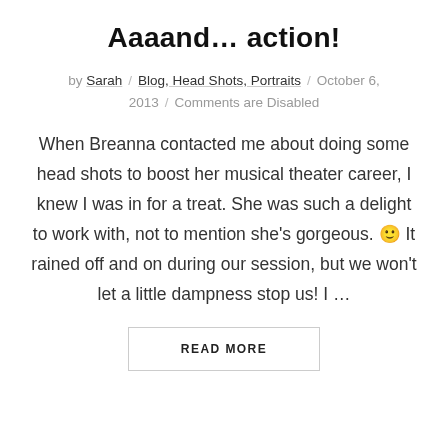Aaaand… action!
by Sarah / Blog, Head Shots, Portraits / October 6, 2013 / Comments are Disabled
When Breanna contacted me about doing some head shots to boost her musical theater career, I knew I was in for a treat. She was such a delight to work with, not to mention she's gorgeous. 🙂 It rained off and on during our session, but we won't let a little dampness stop us! I …
READ MORE